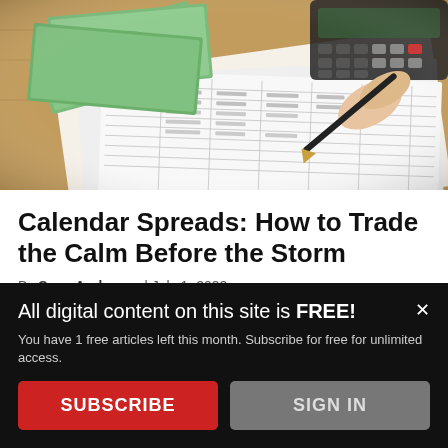[Figure (photo): Photo of US dollar bills, a calculator, a pen, and financial/options trading spreadsheets on a wooden desk — a hand is writing on the papers with a pen]
Calendar Spreads: How to Trade the Calm Before the Storm
By Sage Anderson | July 1, 2022
A calendar spread involves simultaneously buying and selling options with the same strike price but different
All digital content on this site is FREE!
You have 1 free articles left this month. Subscribe for free for unlimited access.
SUBSCRIBE
SIGN IN